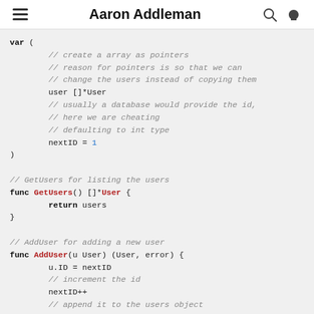Aaron Addleman
var (
        // create a array as pointers
        // reason for pointers is so that we can
        // change the users instead of copying them
        user []*User
        // usually a database would provide the id,
        // here we are cheating
        // defaulting to int type
        nextID = 1
)

// GetUsers for listing the users
func GetUsers() []*User {
        return users
}

// AddUser for adding a new user
func AddUser(u User) (User, error) {
        u.ID = nextID
        // increment the id
        nextID++
        // append it to the users object